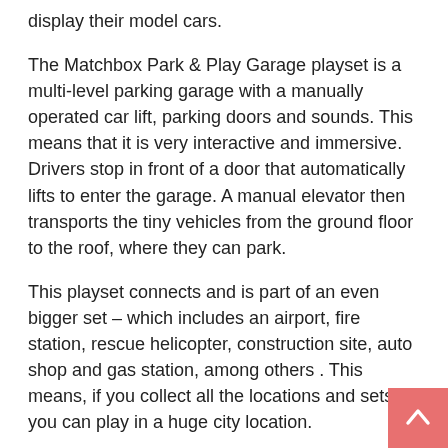display their model cars.
The Matchbox Park & Play Garage playset is a multi-level parking garage with a manually operated car lift, parking doors and sounds. This means that it is very interactive and immersive. Drivers stop in front of a door that automatically lifts to enter the garage. A manual elevator then transports the tiny vehicles from the ground floor to the roof, where they can park.
This playset connects and is part of an even bigger set – which includes an airport, fire station, rescue helicopter, construction site, auto shop and gas station, among others . This means, if you collect all the locations and sets, you can play in a huge city location.
Again, this is something that didn't really exist when I was a kid. We mostly dug holes in the ground and used our imagination to create different places.